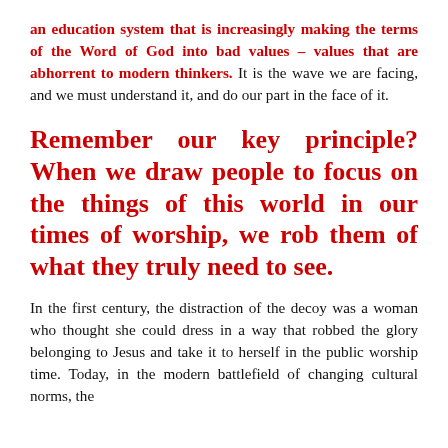an education system that is increasingly making the terms of the Word of God into bad values – values that are abhorrent to modern thinkers. It is the wave we are facing, and we must understand it, and do our part in the face of it.
Remember our key principle? When we draw people to focus on the things of this world in our times of worship, we rob them of what they truly need to see.
In the first century, the distraction of the decoy was a woman who thought she could dress in a way that robbed the glory belonging to Jesus and take it to herself in the public worship time. Today, in the modern battlefield of changing cultural norms, the